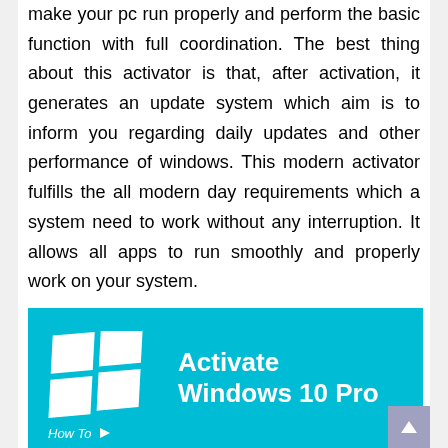make your pc run properly and perform the basic function with full coordination. The best thing about this activator is that, after activation, it generates an update system which aim is to inform you regarding daily updates and other performance of windows. This modern activator fulfills the all modern day requirements which a system need to work without any interruption. It allows all apps to run smoothly and properly work on your system.
[Figure (illustration): Blue banner image with Windows logo (four white squares arranged in a window pane pattern, slightly skewed) on the left and text 'Activate Windows 10 Pro' in white bold font on the right. At the bottom of the image, partial text 'How To' with an arrow icon is visible.]